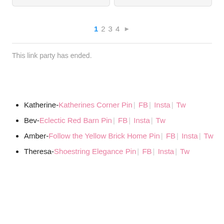1 2 3 4 ▶
This link party has ended.
Katherine- Katherines Corner Pin | FB | Insta | Tw
Bev- Eclectic Red Barn Pin | FB | Insta | Tw
Amber- Follow the Yellow Brick Home Pin | FB | Insta | Tw
Theresa- Shoestring Elegance Pin | FB | Insta | Tw